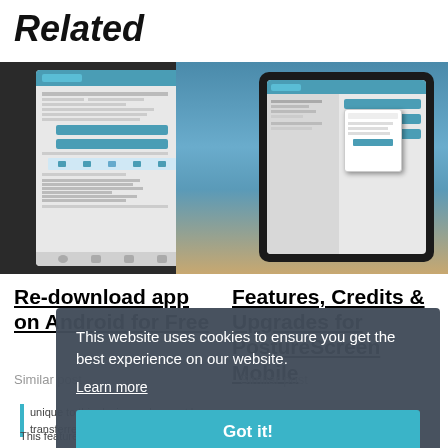Related
[Figure (screenshot): Two screenshots: left shows an Android phone app settings screen with blue buttons and rows of options; right shows a tablet with the PostureScreen app open against a coastal background.]
Re-download app on Android for Free
Features, Credits & Upgrades for PostureScreen Mobile
Similar post
Similar post
This website uses cookies to ensure you get the best experience on our website.
Learn more
Got it!
unique to this device and cannot be transferred.
This feature is also part of the Unlimited Assessment Plan Subscription. You may